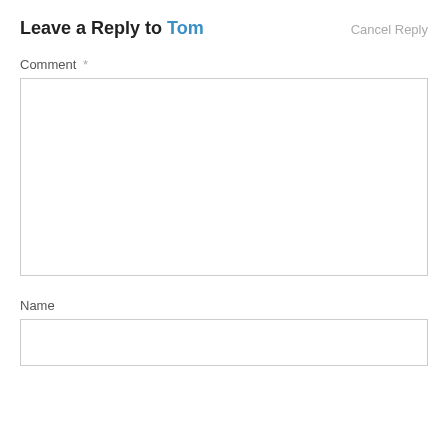Leave a Reply to Tom
Cancel Reply
Comment *
[Figure (other): Large empty comment textarea input field]
Name
[Figure (other): Single-line name text input field]